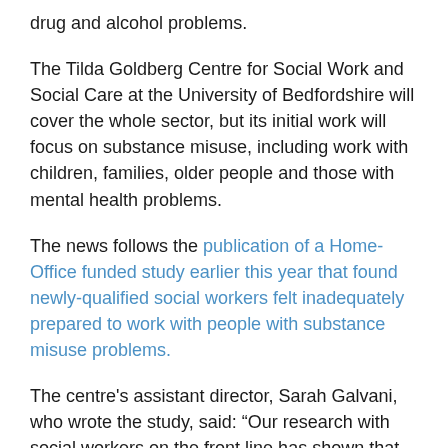drug and alcohol problems.
The Tilda Goldberg Centre for Social Work and Social Care at the University of Bedfordshire will cover the whole sector, but its initial work will focus on substance misuse, including work with children, families, older people and those with mental health problems.
The news follows the publication of a Home-Office funded study earlier this year that found newly-qualified social workers felt inadequately prepared to work with people with substance misuse problems.
The centre's assistant director, Sarah Galvani, who wrote the study, said: “Our research with social workers on the front line has shown that they need and want more support for working with people with alcohol and drug problems because of the gaps in qualifying training. This programme of work is intended to build the evidence base in order to support practitioners.”